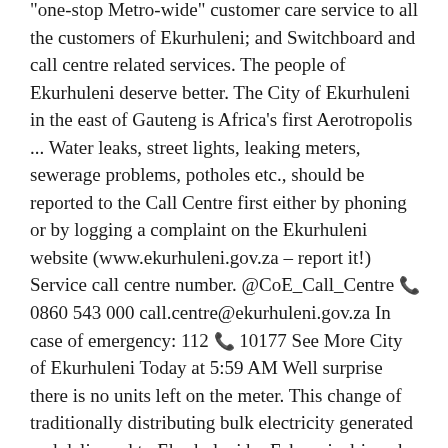"one-stop Metro-wide" customer care service to all the customers of Ekurhuleni; and Switchboard and call centre related services. The people of Ekurhuleni deserve better. The City of Ekurhuleni in the east of Gauteng is Africa's first Aerotropolis ... Water leaks, street lights, leaking meters, sewerage problems, potholes etc., should be reported to the Call Centre first either by phoning or by logging a complaint on the Ekurhuleni website (www.ekurhuleni.gov.za – report it!) Service call centre number. @CoE_Call_Centre 📞 0860 543 000 call.centre@ekurhuleni.gov.za In case of emergency: 112 📞 10177 See More City of Ekurhuleni Today at 5:59 AM Well surprise there is no units left on the meter. This change of traditionally distributing bulk electricity generated and delivered to Ekurhuleni by Eskom is driven by the concept of renewable energy sources, mainly wind and energy generated by landfill gas and a process named waste to energy,